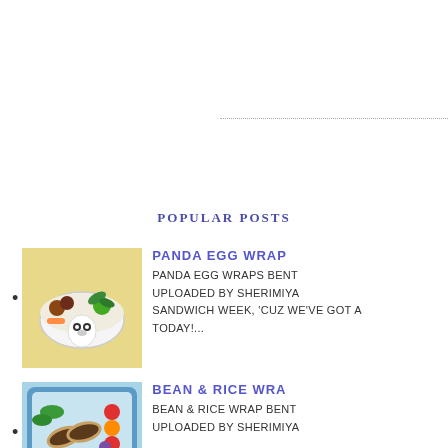POPULAR POSTS
[Figure (photo): Bento box with panda egg wrap, vegetables, and fruits on yellow background]
PANDA EGG WRAP
PANDA EGG WRAPS BENT UPLOADED BY SHERIMIYA SANDWICH WEEK, 'CUZ WE'VE GOT A TODAY!...
[Figure (photo): Bento box with bean and rice wraps, fruits, and vegetables on blue background]
BEAN & RICE WRA
BEAN & RICE WRAP BENT UPLOADED BY SHERIMIYA